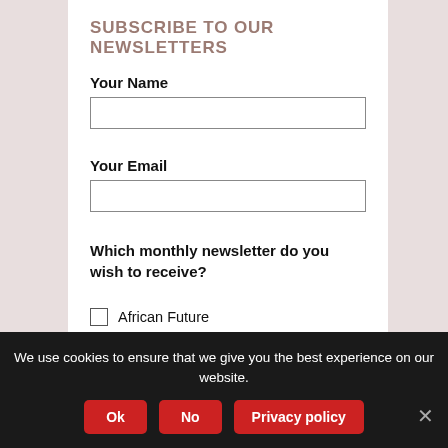SUBSCRIBE TO OUR NEWSLETTERS
Your Name
Your Email
Which monthly newsletter do you wish to receive?
African Future
Cutting edge
Health
We use cookies to ensure that we give you the best experience on our website.
Ok
No
Privacy policy